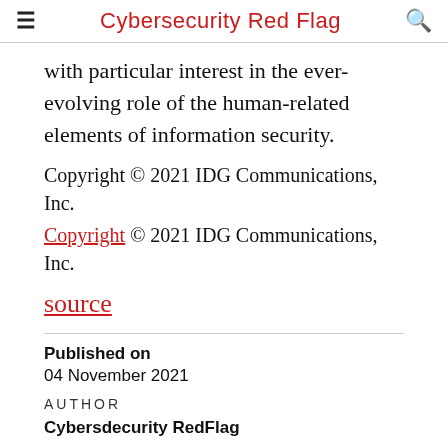Cybersecurity Red Flag
with particular interest in the ever-evolving role of the human-related elements of information security.
Copyright © 2021 IDG Communications, Inc.
Copyright © 2021 IDG Communications, Inc.
source
Published on
04 November 2021
AUTHOR
Cybersdecurity RedFlag